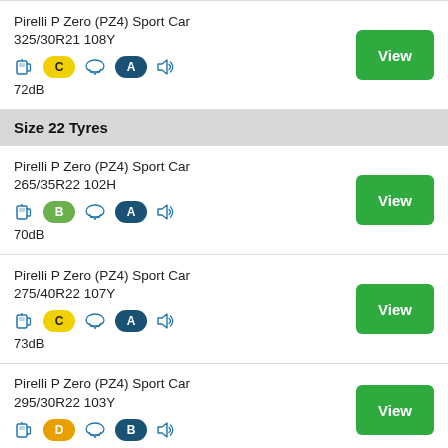Pirelli P Zero (PZ4) Sport Car 325/30R21 108Y — fuel: C, wet: A, noise: 72dB
Size 22 Tyres
Pirelli P Zero (PZ4) Sport Car 265/35R22 102H — fuel: B, wet: A, noise: 70dB
Pirelli P Zero (PZ4) Sport Car 275/40R22 107Y — fuel: C, wet: A, noise: 73dB
Pirelli P Zero (PZ4) Sport Car 295/30R22 103Y — fuel: D, wet: B